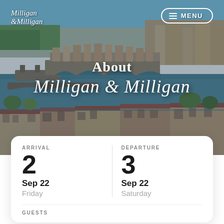[Figure (photo): Aerial view of Florence, Italy showing the Ponte Vecchio bridge over the Arno river with cityscape and bridges in the background]
Milligan & Milligan
About Milligan & Milligan
| ARRIVAL | DEPARTURE |
| --- | --- |
| 2 | 3 |
| Sep 22 | Sep 22 |
| Friday | Saturday |
GUESTS